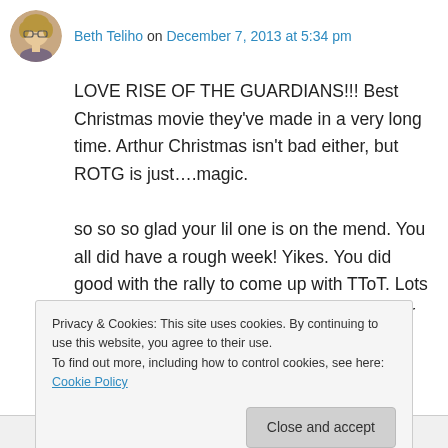[Figure (photo): Circular avatar photo of a woman with glasses and blonde hair]
Beth Teliho on December 7, 2013 at 5:34 pm
LOVE RISE OF THE GUARDIANS!!! Best Christmas movie they’ve made in a very long time. Arthur Christmas isn’t bad either, but ROTG is just….magic.
so so so glad your lil one is on the mend. You all did have a rough week! Yikes. You did good with the rally to come up with TToT. Lots to be thankful for despite the yucky week fer sher.
★ Like
Privacy & Cookies: This site uses cookies. By continuing to use this website, you agree to their use.
To find out more, including how to control cookies, see here: Cookie Policy
Close and accept
We will have to check out Arthur Christmas